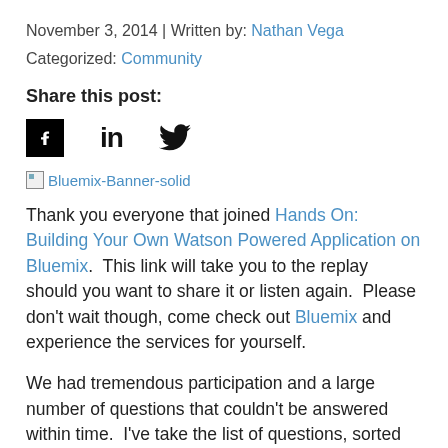November 3, 2014 | Written by: Nathan Vega
Categorized: Community
Share this post:
[Figure (other): Social share icons: Facebook, LinkedIn, Twitter]
[Figure (other): Bluemix-Banner-solid broken image placeholder]
Thank you everyone that joined Hands On: Building Your Own Watson Powered Application on Bluemix.  This link will take you to the replay should you want to share it or listen again.  Please don't wait though, come check out Bluemix and experience the services for yourself.
We had tremendous participation and a large number of questions that couldn't be answered within time.  I've take the list of questions, sorted them and provided answers.  I encourage you to follow up with the team on